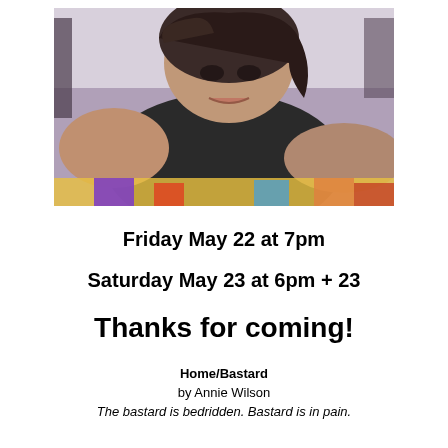[Figure (photo): A woman with dark hair leaning forward, wearing a black top, photographed from above in a bedroom setting with colorful bedding.]
Friday May 22 at 7pm
Saturday May 23 at 6pm + 23
Thanks for coming!
Home/Bastard
by Annie Wilson
The bastard is bedridden. Bastard is in pain.